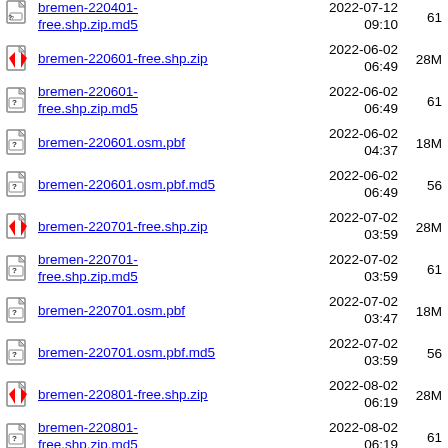bremen-220401-free.shp.zip.md5  2022-07-12 09:10  61
bremen-220601-free.shp.zip  2022-06-02 06:49  28M
bremen-220601-free.shp.zip.md5  2022-06-02 06:49  61
bremen-220601.osm.pbf  2022-06-02 04:37  18M
bremen-220601.osm.pbf.md5  2022-06-02 06:49  56
bremen-220701-free.shp.zip  2022-07-02 03:59  28M
bremen-220701-free.shp.zip.md5  2022-07-02 03:59  61
bremen-220701.osm.pbf  2022-07-02 03:47  18M
bremen-220701.osm.pbf.md5  2022-07-02 03:59  56
bremen-220801-free.shp.zip  2022-08-02 06:19  28M
bremen-220801-free.shp.zip.md5  2022-08-02 06:19  61
bremen-220801.osm.pbf  2022-08-02  18M